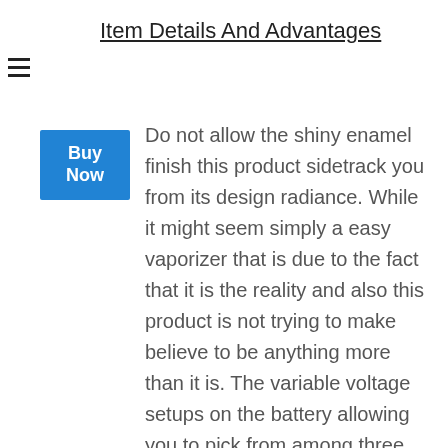Item Details And Advantages
[Figure (other): Blue 'Buy Now' button]
Do not allow the shiny enamel finish this product sidetrack you from its design radiance. While it might seem simply a easy vaporizer that is due to the fact that it is the reality and also this product is not trying to make believe to be anything more than it is. The variable voltage setups on the battery allowing you to pick from among three temperature setups. You can tell which temperature setting the item is set at via an LED light ring that changes colors from green to